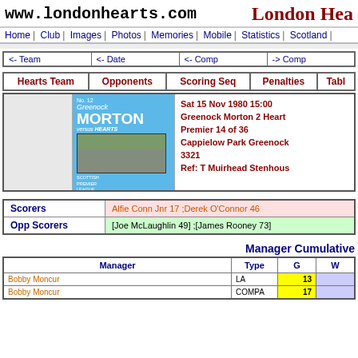www.londonhearts.com | London Hearts
Home | Club | Images | Photos | Memories | Mobile | Statistics | Scotland
| <- Team | <- Date | <- Comp | -> Comp |
| --- | --- | --- | --- |
| Hearts Team | Opponents | Scoring Seq | Penalties | Table |
| --- | --- | --- | --- | --- |
[Figure (photo): Greenock Morton vs Hearts football programme cover, blue background, showing match action photo]
Sat 15 Nov 1980 15:00
Greenock Morton 2 Hearts
Premier 14 of 36
Cappielow Park Greenock
3321
Ref: T Muirhead Stenhous
| Scorers | Opp Scorers |
| --- | --- |
| Alfie Conn Jnr 17 ;Derek O'Connor 46 | [Joe McLaughlin 49] ;[James Rooney 73] |
Manager Cumulative
| Manager | Type | G | W |
| --- | --- | --- | --- |
| Bobby Moncur | LA | 13 |  |
| Bobby Moncur | COMPA | 17 |  |